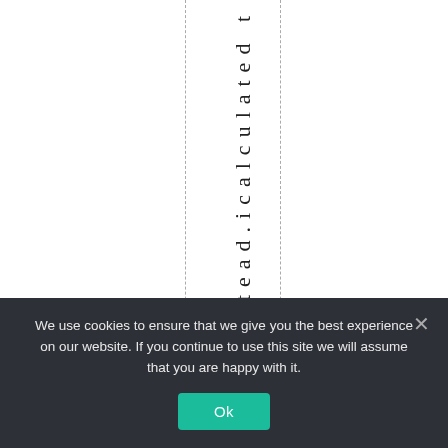stead.icalculated t
We use cookies to ensure that we give you the best experience on our website. If you continue to use this site we will assume that you are happy with it.